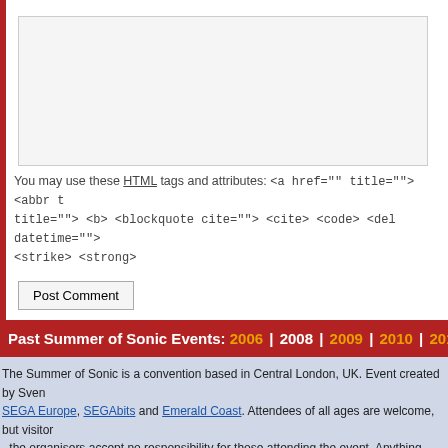[Figure (screenshot): Textarea input box with light gray background and border]
You may use these HTML tags and attributes: <a href="" title=""> <abbr title=""> <b> <blockquote cite=""> <cite> <code> <del datetime=""> <strike> <strong>
Post Comment (button)
Past Summer of Sonic Events: 2006 | 2008 | 2009 | 2010 | 2011 | 2012
The Summer of Sonic is a convention based in Central London, UK. Event created by Sven... SEGA Europe, SEGAbits and Emerald Coast. Attendees of all ages are welcome, but visitors - the organisers accept no responsibility for those attending the event. Anything brought in when meeting strangers you know online elsewhere; The Summer of Sonic is a safe neutral Summer of Sonic 2011, fan content published is the copyright © of respective artists and Rights Reserved. Website powered by WordPress and chili dogs.